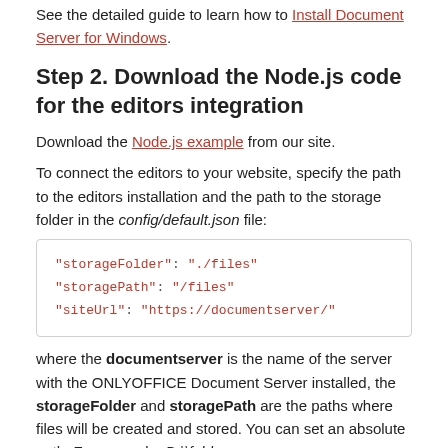See the detailed guide to learn how to Install Document Server for Windows.
Step 2. Download the Node.js code for the editors integration
Download the Node.js example from our site.
To connect the editors to your website, specify the path to the editors installation and the path to the storage folder in the config/default.json file:
"storageFolder": "./files"
"storagePath": "/files"
"siteUrl": "https://documentserver/"
where the documentserver is the name of the server with the ONLYOFFICE Document Server installed, the storageFolder and storagePath are the paths where files will be created and stored. You can set an absolute path. For example, D:\folder.